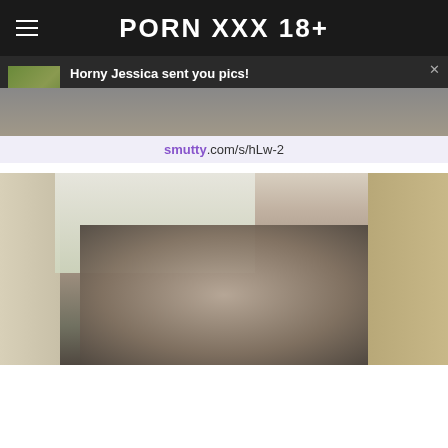PORN XXX 18+
[Figure (screenshot): Dark notification bar showing thumbnail and message: Horny Jessica sent you pics! Reply to message → via Web App]
smutty.com/s/hLw-2
[Figure (photo): Photo of a woman in black fishnet bodysuit from behind, near a window with curtains]